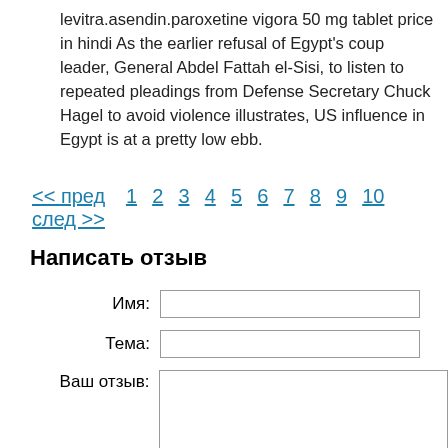levitra.asendin.paroxetine vigora 50 mg tablet price in hindi As the earlier refusal of Egypt's coup leader, General Abdel Fattah el-Sisi, to listen to repeated pleadings from Defense Secretary Chuck Hagel to avoid violence illustrates, US influence in Egypt is at a pretty low ebb.
<< пред  1  2  3  4  5  6  7  8  9  10  след >>
Написать отзыв
Имя: [input field]
Тема: [input field]
Ваш отзыв: [textarea]